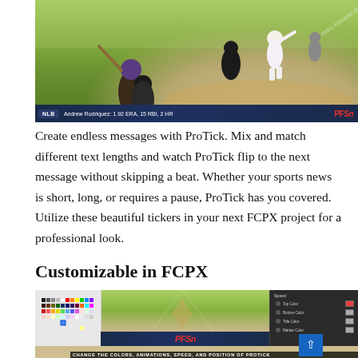[Figure (screenshot): Baseball game screenshot with NLB ticker bar showing 'Andrew Rodriguez: 1.92 ERA, 15 RBI, 2 HR' and PFSN logo. Watermark 'mac-torrent-download.net' visible diagonally.]
Create endless messages with ProTick. Mix and match different text lengths and watch ProTick flip to the next message without skipping a beat. Whether your sports news is short, long, or requires a pause, ProTick has you covered. Utilize these beautiful tickers in your next FCPX project for a professional look.
Customizable in FCPX
[Figure (screenshot): Baseball game customization screenshot showing color picker panel, PFSN ticker bar, and properties panel on right. Bottom text: 'CHANGE THE COLORS, ANIMATIONS, SPEED, AND POSITION OF PROTICK'. Watermark visible.]